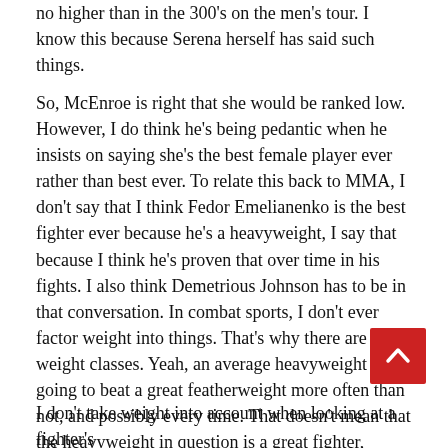no higher than in the 300's on the men's tour. I know this because Serena herself has said such things.
So, McEnroe is right that she would be ranked low. However, I do think he's being pedantic when he insists on saying she's the best female player ever rather than best ever. To relate this back to MMA, I don't say that I think Fedor Emelianenko is the best fighter ever because he's a heavyweight, I say that because I think he's proven that over time in his fights. I also think Demetrious Johnson has to be in that conversation. In combat sports, I don't ever factor weight into things. That's why there are weight classes. Yeah, an average heavyweight is going to beat a great featherweight more often than not, and possibly every time. That doesn't mean that the heavyweight in question is a great fighter, though. No one would argue that Generic Heavyweight A is one of the best ever because he could beat Max Holloway or Tony Ferguson or Khabib Nurmagomedov.
[Figure (other): Red square back-to-top button with white upward chevron arrow]
I don't take weight into account when looking at a fighter's